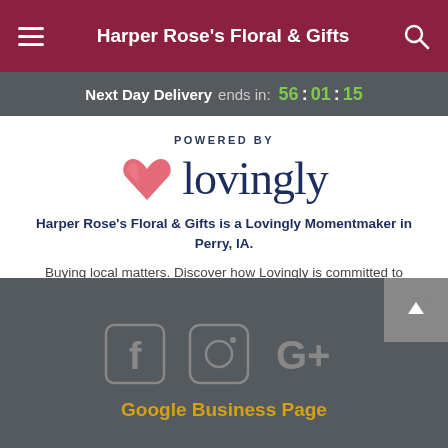Harper Rose's Floral & Gifts
Next Day Delivery ends in: 56 : 01 : 15
[Figure (logo): Powered by Lovingly logo with pink/red heart shape and dark blue text]
Harper Rose's Floral & Gifts is a Lovingly Momentmaker in Perry, IA.
Buying local matters. Discover how Lovingly is committed to strengthening relationships by helping local florists market, sell, and deliver their floral designs online.
[Figure (illustration): Social media icons: Facebook, Instagram, Google+]
Google Business Page